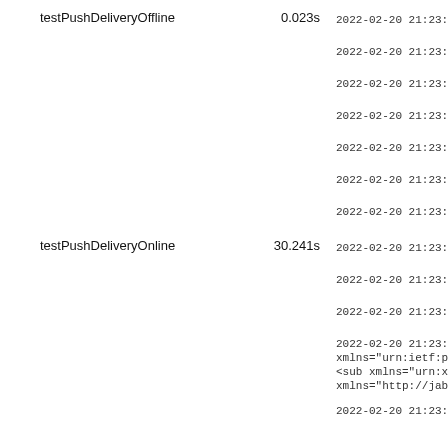testPushDeliveryOffline    0.023s    2022-02-20 21:23:45 |
2022-02-20 21:23:45 |
2022-02-20 21:23:45 |
2022-02-20 21:23:45 |
2022-02-20 21:23:45 |
2022-02-20 21:23:45 |
2022-02-20 21:23:45 |
testPushDeliveryOnline    30.241s    2022-02-20 21:23:46 |
2022-02-20 21:23:46 |
2022-02-20 21:23:46 |
2022-02-20 21:23:47 | xmlns="urn:ietf:param
<sub xmlns="urn:xmpp:
xmlns="http://jabber.
2022-02-20 21:23:47 |